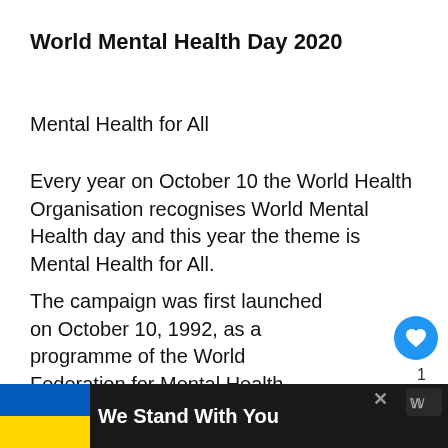World Mental Health Day 2020
Mental Health for All
Every year on October 10 the World Health Organisation recognises World Mental Health day and this year the theme is Mental Health for All.
The campaign was first launched on October 10, 1992, as a programme of the World Federation for Mental Health.
The current global climate has seen an unprecedented effect on the mental health of the world's population
[Figure (other): Bottom banner: Ukrainian flag on left, bold white text 'We Stand With You' on dark background, close button X, and a small logo on the right.]